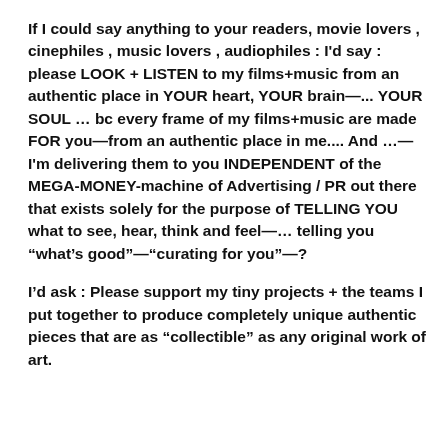If I could say anything to your readers, movie lovers , cinephiles , music lovers , audiophiles : I'd say : please LOOK + LISTEN to my films+music from an authentic place in YOUR heart, YOUR brain—... YOUR SOUL … bc every frame of my films+music are made FOR you—from an authentic place in me.... And …—I'm delivering them to you INDEPENDENT of the MEGA-MONEY-machine of Advertising / PR out there that exists solely for the purpose of TELLING YOU what to see, hear, think and feel—… telling you “what’s good”—“curating for you”—?
I’d ask : Please support my tiny projects + the teams I put together to produce completely unique authentic pieces that are as “collectible” as any original work of art.